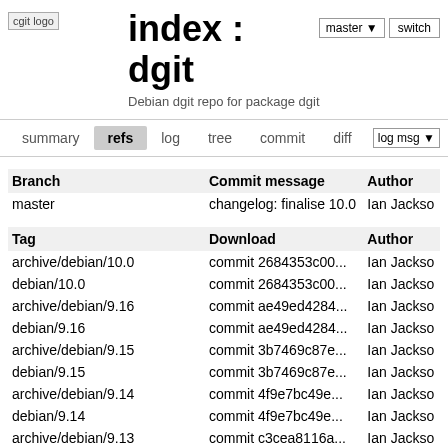[Figure (logo): cgit logo - small image placeholder with text 'cgit logo']
index : dgit
Debian dgit repo for package dgit
| Branch | Commit message | Author |
| --- | --- | --- |
| master | changelog: finalise 10.0 | Ian Jackso |
| Tag | Download | Author |
| --- | --- | --- |
| archive/debian/10.0 | commit 2684353c00... | Ian Jackso |
| debian/10.0 | commit 2684353c00... | Ian Jackso |
| archive/debian/9.16 | commit ae49ed4284... | Ian Jackso |
| debian/9.16 | commit ae49ed4284... | Ian Jackso |
| archive/debian/9.15 | commit 3b7469c87e... | Ian Jackso |
| debian/9.15 | commit 3b7469c87e... | Ian Jackso |
| archive/debian/9.14 | commit 4f9e7bc49e... | Ian Jackso |
| debian/9.14 | commit 4f9e7bc49e... | Ian Jackso |
| archive/debian/9.13 | commit c3cea8116a... | Ian Jackso |
| debian/9.13 | commit c3cea8116a... | Ian Jackso |
| archive/debian/9.12 | commit bfe3a27088... | Ian Jackso |
| debian/9.12 | commit bfe3a27088... | Ian Jackso |